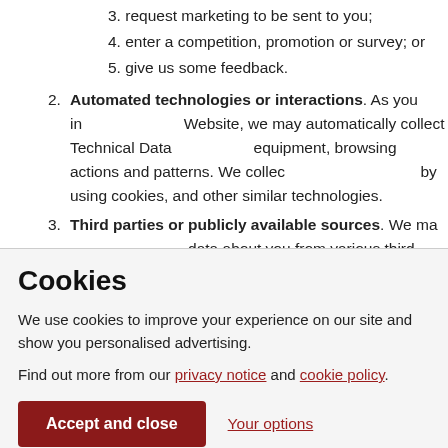3. request marketing to be sent to you;
4. enter a competition, promotion or survey; or
5. give us some feedback.
2. Automated technologies or interactions. As you interact with our Website, we may automatically collect Technical Data about your equipment, browsing actions and patterns. We collect this personal data by using cookies, and other similar technologies.
3. Third parties or publicly available sources. We may receive personal data about you from various third parties and public sources.
Cookies
We use cookies to improve your experience on our site and show you personalised advertising.
Find out more from our privacy notice and cookie policy.
Accept and close | Your options